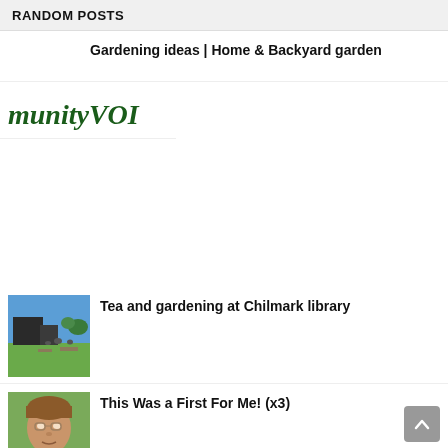RANDOM POSTS
Gardening ideas | Home & Backyard garden
[Figure (logo): Community Voice logo with italic green text showing 'munityVOI']
[Figure (photo): Outdoor scene at Chilmark library, people gathered outside with blue sky]
Tea and gardening at Chilmark library
[Figure (photo): Person with glasses outdoors in garden setting]
This Was a First For Me! (x3)
[Figure (photo): Dark garden/plant image, partial view]
Pool Noodle Hacks 201 | Easiest Way to Grow Sweet